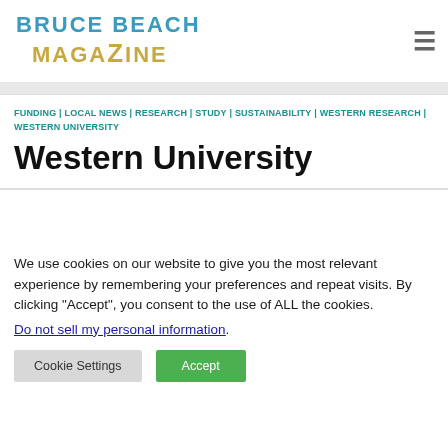[Figure (logo): Bruce Beach Magazine logo with stylized text in blue-teal and gold colors]
FUNDING | LOCAL NEWS | RESEARCH | STUDY | SUSTAINABILITY | WESTERN RESEARCH | WESTERN UNIVERSITY
Western University
We use cookies on our website to give you the most relevant experience by remembering your preferences and repeat visits. By clicking “Accept”, you consent to the use of ALL the cookies.
Do not sell my personal information.
Cookie Settings
Accept